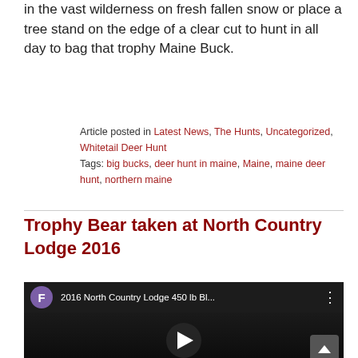in the vast wilderness on fresh fallen snow or place a tree stand on the edge of a clear cut to hunt in all day to bag that trophy Maine Buck.
Article posted in Latest News, The Hunts, Uncategorized, Whitetail Deer Hunt
Tags: big bucks, deer hunt in maine, Maine, maine deer hunt, northern maine
Trophy Bear taken at North Country Lodge 2016
[Figure (screenshot): YouTube video thumbnail showing a man holding a bear at night, with video title '2016 North Country Lodge 450 lb Bl...' and a play button overlay]